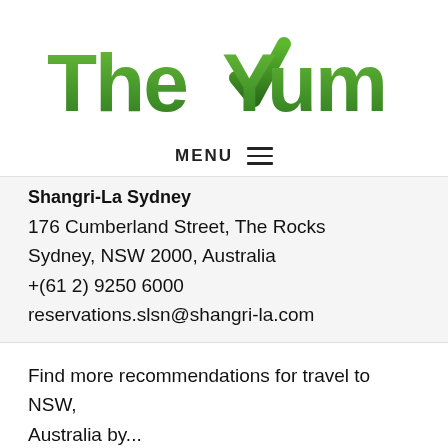[Figure (logo): The Yum List logo — green gradient text with a checkmark replacing the Y in Yum]
MENU ≡
Shangri-La Sydney
176 Cumberland Street, The Rocks
Sydney, NSW 2000, Australia
+(61 2) 9250 6000
reservations.slsn@shangri-la.com
Find more recommendations for travel to NSW, Australia by...